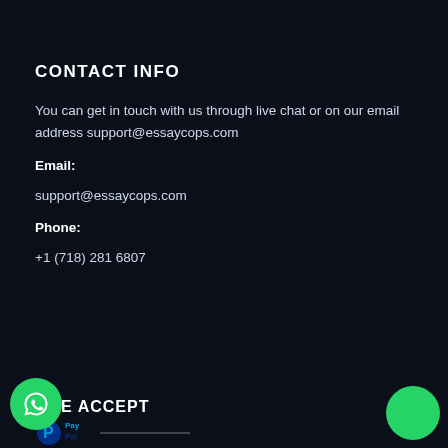CONTACT INFO
You can get in touch with us through live chat or on our email address support@essaycops.com
Email:
support@essaycops.com
Phone:
+1 (718) 281 6807
WE ACCEPT
[Figure (logo): WhatsApp green circular button icon at bottom left]
[Figure (logo): Green chat circle button at bottom right]
[Figure (logo): PayPal logo at bottom]